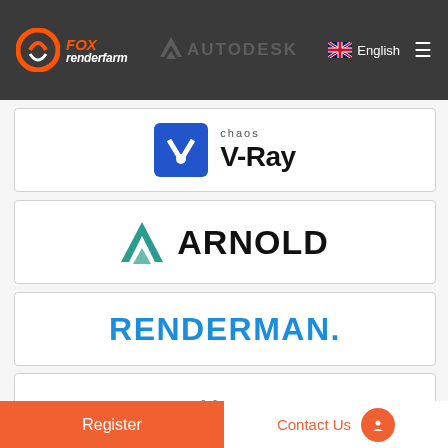[Figure (logo): Fox Renderfarm logo and Autodesk logo in dark header bar with English language selector and hamburger menu]
[Figure (logo): Chaos V-Ray logo - blue square with checkmark V icon and text 'chaos V-Ray']
[Figure (logo): Arnold renderer logo - teal A icon with ARNOLD text in bold black]
[Figure (logo): RenderMan logo in bold blue uppercase text with period]
More
Register
Contact Us